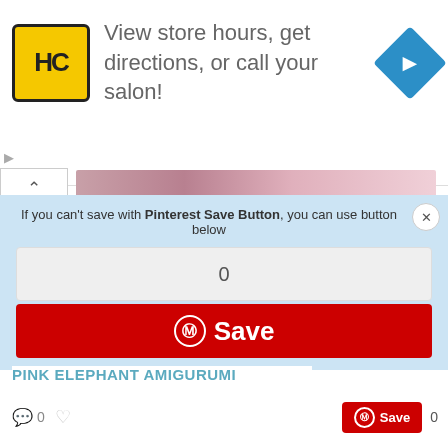[Figure (screenshot): Advertisement banner for a salon service with HC logo (yellow background, black border), text 'View store hours, get directions, or call your salon!', and a blue navigation diamond icon on the right]
[Figure (screenshot): Pinterest Save popup dialog with light blue background saying 'If you can’t save with Pinterest Save Button, you can use button below', with a counter showing 0 and a red Save button with Pinterest logo]
[Figure (photo): Photo of pink elephant amigurumi (crocheted stuffed animal) in pink fluffy yarn on a gray surface]
PINK ELEPHANT AMIGURUMI
[Figure (screenshot): Bottom bar with comment count 0, heart icon, red Pinterest Save button, and save count 0]